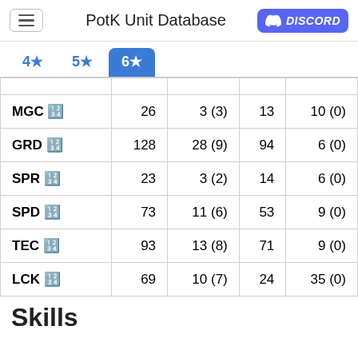PotK Unit Database
|  |  |  |  |  |
| --- | --- | --- | --- | --- |
| MGC 🔢 | 26 | 3 (3) | 13 | 10 (0) |
| GRD 🔢 | 128 | 28 (9) | 94 | 6 (0) |
| SPR 🔢 | 23 | 3 (2) | 14 | 6 (0) |
| SPD 🔢 | 73 | 11 (6) | 53 | 9 (0) |
| TEC 🔢 | 93 | 13 (8) | 71 | 9 (0) |
| LCK 🔢 | 69 | 10 (7) | 24 | 35 (0) |
Skills